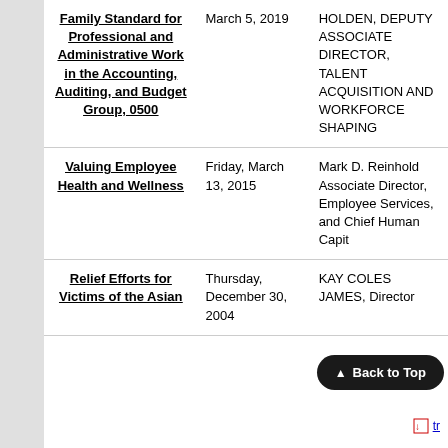| Document | Date | Author/Contact |
| --- | --- | --- |
| Family Standard for Professional and Administrative Work in the Accounting, Auditing, and Budget Group, 0500 | March 5, 2019 | HOLDEN, DEPUTY ASSOCIATE DIRECTOR, TALENT ACQUISITION AND WORKFORCE SHAPING |
| Valuing Employee Health and Wellness | Friday, March 13, 2015 | Mark D. Reinhold Associate Director, Employee Services, and Chief Human Capit... |
| Relief Efforts for Victims of the Asian | Thursday, December 30, 2004 | KAY COLES JAMES, Director |